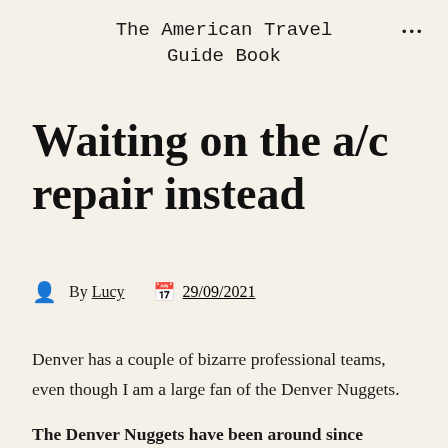The American Travel Guide Book
Waiting on the a/c repair instead
By Lucy  29/09/2021
Denver has a couple of bizarre professional teams, even though I am a large fan of the Denver Nuggets.
The Denver Nuggets have been around since